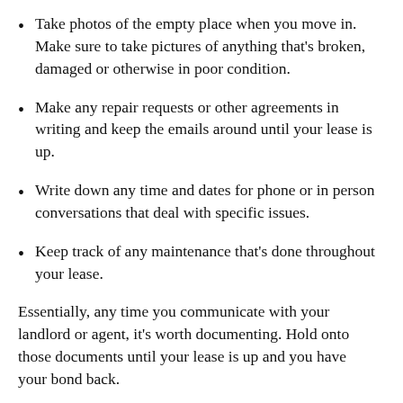Take photos of the empty place when you move in. Make sure to take pictures of anything that's broken, damaged or otherwise in poor condition.
Make any repair requests or other agreements in writing and keep the emails around until your lease is up.
Write down any time and dates for phone or in person conversations that deal with specific issues.
Keep track of any maintenance that's done throughout your lease.
Essentially, any time you communicate with your landlord or agent, it's worth documenting. Hold onto those documents until your lease is up and you have your bond back.
More From Lifehacker Australia
Why Everyone Hates Landlords Now